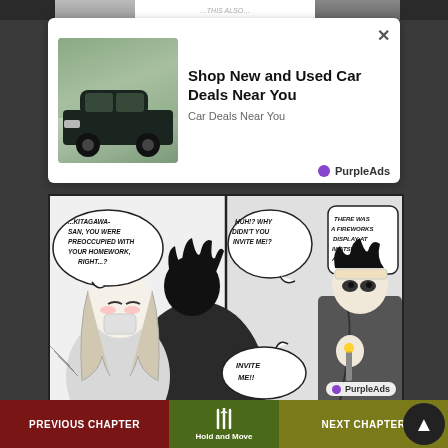[Figure (screenshot): Partial view of manga page top strip with partial image/text cut off at top]
[Figure (screenshot): Advertisement banner: car photo on left, text 'Shop New and Used Car Deals Near You' and 'Car Deals Near You', PurpleAds logo, close X button]
[Figure (illustration): Manga comic panel showing two sub-panels. Left panel: female character with speech bubble '...KITAGAWA-SAN, YOU WERE PREOCCUPIED WITH YOUR HOMEWORK, RIGHT...?'. Right panel top: speech bubble 'HUH!? WHY DIDN'T YOU INVITE ME!?' and 'THERE WAS A FIREWORKS DISPLAY AT IWATSUKI AS WELL...' Right panel bottom: speech bubble 'INVITE ME!!']
[Figure (screenshot): Bottom advertisement with close X button and partial game/app ad content]
PREVIOUS CHAPTER   Hold and Move   NEXT CHAPTER